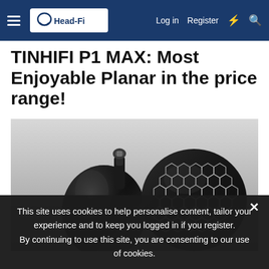Head-Fi | Log in | Register
TINHIFI P1 MAX: Most Enjoyable Planar in the price range!
[Figure (photo): Close-up photograph of two TINHIFI P1 MAX in-ear monitors. One shows the MMCX connector end and the other shows the honeycomb/mesh faceplate design in black with white grid pattern. Both earphones are black and glossy.]
This site uses cookies to help personalise content, tailor your experience and to keep you logged in if you register. By continuing to use this site, you are consenting to our use of cookies.